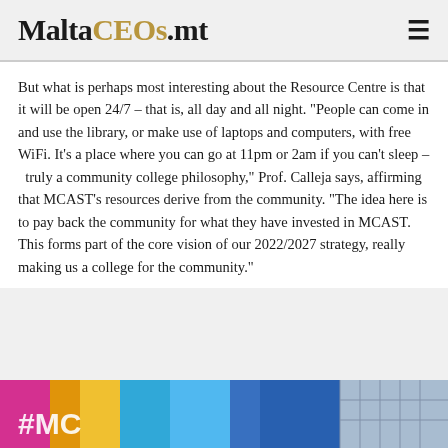MaltaCEOs.mt
But what is perhaps most interesting about the Resource Centre is that it will be open 24/7 – that is, all day and all night. “People can come in and use the library, or make use of laptops and computers, with free WiFi. It’s a place where you can go at 11pm or 2am if you can’t sleep – truly a community college philosophy,” Prof. Calleja says, affirming that MCAST’s resources derive from the community. “The idea here is to pay back the community for what they have invested in MCAST. This forms part of the core vision of our 2022/2027 strategy, really making us a college for the community.”
[Figure (photo): Bottom portion of a photograph showing a colorful MCAST building exterior with bright signage colors including pink, orange, blue and a modern glass building facade in the background. Text '#MC...' visible at bottom left.]